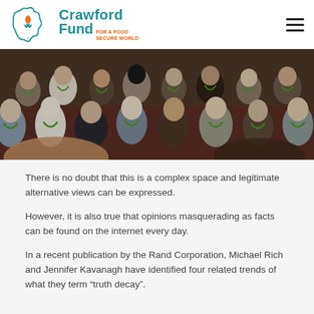Crawford Fund FOR A FOOD SECURE WORLD
[Figure (photo): Audience of conference attendees, mostly women, seated in rows. Many wearing green lanyards. People looking forward or down at materials.]
There is no doubt that this is a complex space and legitimate alternative views can be expressed.
However, it is also true that opinions masquerading as facts can be found on the internet every day.
In a recent publication by the Rand Corporation, Michael Rich and Jennifer Kavanagh have identified four related trends of what they term “truth decay”.